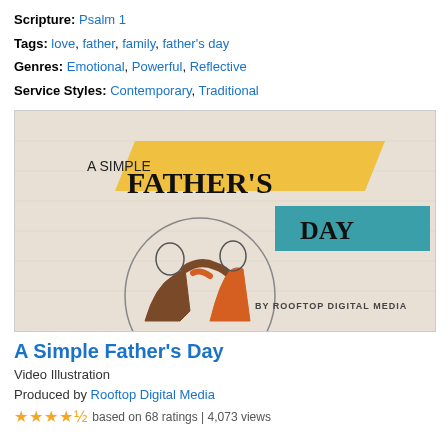Scripture: Psalm 1
Tags: love, father, family, father's day
Genres: Emotional, Powerful, Reflective
Service Styles: Contemporary, Traditional
[Figure (illustration): Promotional thumbnail for 'A Simple Father's Day' by Rooftop Digital Media. Shows two figures with arms around each other from behind, one in brown jacket and one in orange, with yellow and teal graphic banners displaying the title text.]
A Simple Father's Day
Video Illustration
Produced by Rooftop Digital Media
★★★★½ based on 68 ratings | 4,073 views